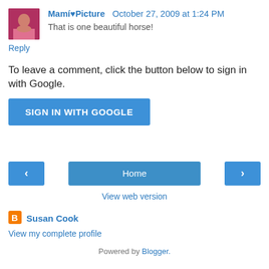[Figure (photo): Avatar thumbnail of a person wearing pink, used as comment profile picture]
Mamí♥Picture  October 27, 2009 at 1:24 PM
That is one beautiful horse!
Reply
To leave a comment, click the button below to sign in with Google.
[Figure (other): Blue button labeled SIGN IN WITH GOOGLE]
[Figure (other): Navigation bar with left arrow button, Home button, and right arrow button]
View web version
[Figure (logo): Blogger orange B logo icon]
Susan Cook
View my complete profile
Powered by Blogger.